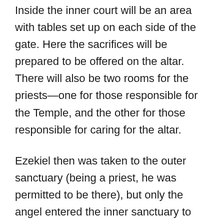Inside the inner court will be an area with tables set up on each side of the gate. Here the sacrifices will be prepared to be offered on the altar. There will also be two rooms for the priests—one for those responsible for the Temple, and the other for those responsible for caring for the altar.
Ezekiel then was taken to the outer sanctuary (being a priest, he was permitted to be there), but only the angel entered the inner sanctuary to measure it. Around the outside of this Temple there were three levels of side rooms with 30 rooms on each floor.